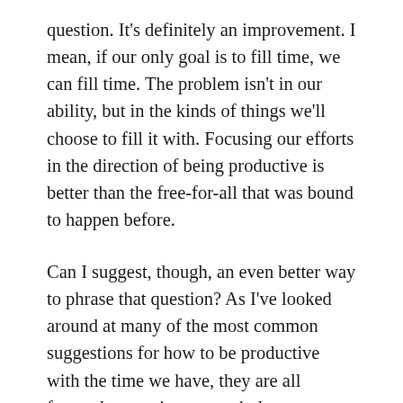question. It's definitely an improvement. I mean, if our only goal is to fill time, we can fill time. The problem isn't in our ability, but in the kinds of things we'll choose to fill it with. Focusing our efforts in the direction of being productive is better than the free-for-all that was bound to happen before.
Can I suggest, though, an even better way to phrase that question? As I've looked around at many of the most common suggestions for how to be productive with the time we have, they are all focused on getting as much done as we possibly can. Folks post pictures of these huge projects they've completed. We need to use this time to write our magnum opus. We need to build our lifetime masterpiece. Every single thing that's been lying